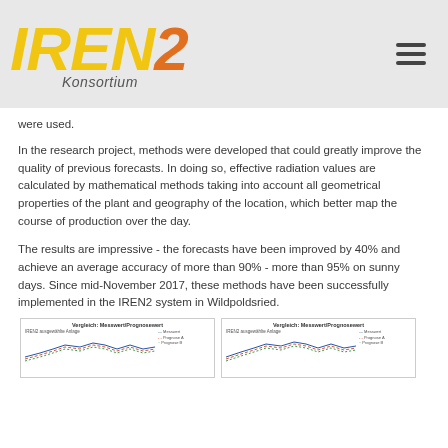IREN2 Konsortium
were used.
In the research project, methods were developed that could greatly improve the quality of previous forecasts. In doing so, effective radiation values are calculated by mathematical methods taking into account all geometrical properties of the plant and geography of the location, which better map the course of production over the day.
The results are impressive - the forecasts have been improved by 40% and achieve an average accuracy of more than 90% - more than 95% on sunny days. Since mid-November 2017, these methods have been successfully implemented in the IREN2 system in Wildpoldsried.
[Figure (line-chart): Vergleich: Messwert/Prognosewert (top left chart thumbnail showing comparison of measured vs forecast values for a solar plant over time)]
[Figure (line-chart): Vergleich: Messwert/Prognosewert (top right chart thumbnail showing comparison of measured vs forecast values for a solar plant over time)]